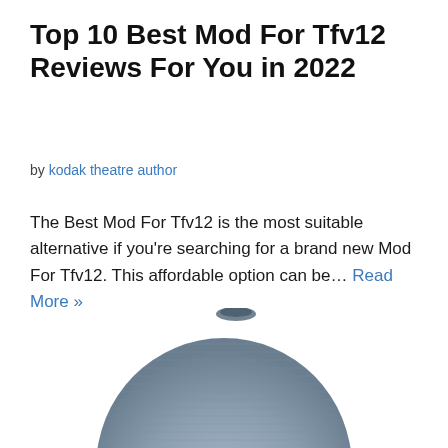Top 10 Best Mod For Tfv12 Reviews For You in 2022
by kodak theatre author
The Best Mod For Tfv12 is the most suitable alternative if you're searching for a brand new Mod For Tfv12. This affordable option can be… Read More »
[Figure (photo): A round blue-grey smart speaker device partially visible at the bottom of the page]